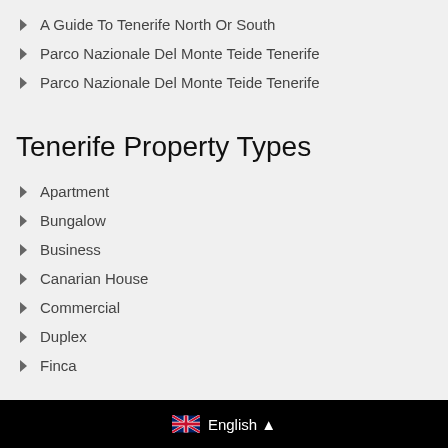A Guide To Tenerife North Or South
Parco Nazionale Del Monte Teide Tenerife
Parco Nazionale Del Monte Teide Tenerife
Tenerife Property Types
Apartment
Bungalow
Business
Canarian House
Commercial
Duplex
Finca
English